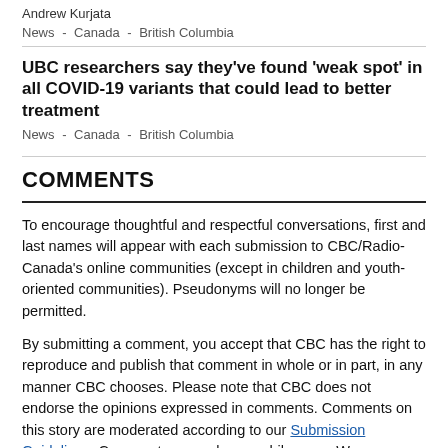Andrew Kurjata
News  -  Canada  -  British Columbia
UBC researchers say they've found 'weak spot' in all COVID-19 variants that could lead to better treatment
News  -  Canada  -  British Columbia
COMMENTS
To encourage thoughtful and respectful conversations, first and last names will appear with each submission to CBC/Radio-Canada's online communities (except in children and youth-oriented communities). Pseudonyms will no longer be permitted.
By submitting a comment, you accept that CBC has the right to reproduce and publish that comment in whole or in part, in any manner CBC chooses. Please note that CBC does not endorse the opinions expressed in comments. Comments on this story are moderated according to our Submission Guidelines. Comments are welcome while open. We reserve the right to close comments at any time.